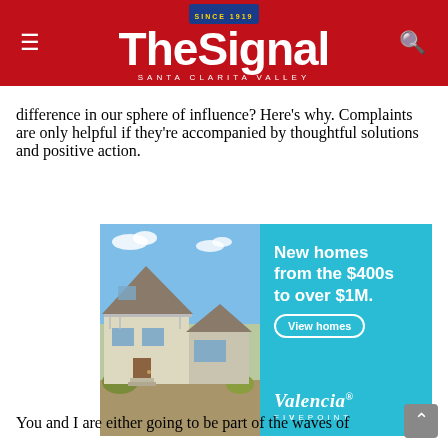The Signal — Santa Clarita Valley
difference in our sphere of influence? Here's why. Complaints are only helpful if they're accompanied by thoughtful solutions and positive action.
[Figure (photo): Advertisement for Valencia Fivepoint homes. Left half shows a modern two-story residential house exterior. Right half is a teal/cyan panel with text: 'New homes from the $400s to over $1M.' and a 'View homes' button, and the Valencia FivePoint brand logo at bottom.]
You and I are either going to be part of the waves of